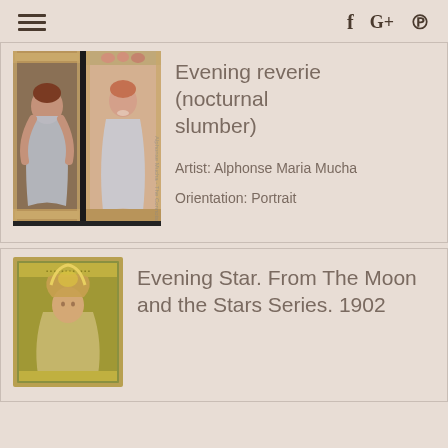≡  f  G+  ℗
[Figure (photo): Two Art Nouveau panels by Alphonse Mucha showing Evening Reverie (nocturnal slumber) — paired decorative poster panels featuring women in flowing robes with floral borders, courtesy of www.alfonsmucha.org]
Evening reverie (nocturnal slumber)
Artist: Alphonse Maria Mucha
Orientation: Portrait
[Figure (photo): Art Nouveau painting Evening Star from The Moon and the Stars Series 1902 by Alphonse Mucha — a woman with crescent moon headdress in golden-green tones]
Evening Star. From The Moon and the Stars Series. 1902